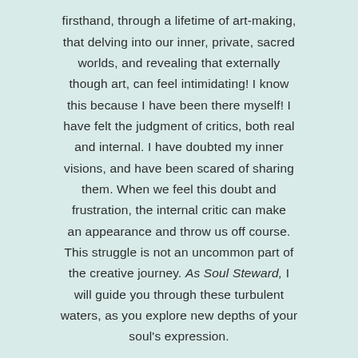firsthand, through a lifetime of art-making, that delving into our inner, private, sacred worlds, and revealing that externally though art, can feel intimidating! I know this because I have been there myself! I have felt the judgment of critics, both real and internal. I have doubted my inner visions, and have been scared of sharing them. When we feel this doubt and frustration, the internal critic can make an appearance and throw us off course. This struggle is not an uncommon part of the creative journey. As Soul Steward, I will guide you through these turbulent waters, as you explore new depths of your soul's expression.